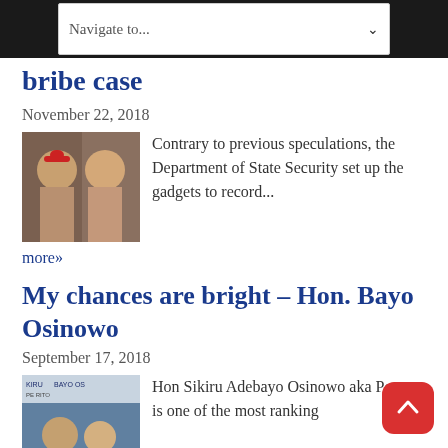Navigate to...
bribe case
November 22, 2018
[Figure (photo): Two men in political attire, one wearing a red cap]
Contrary to previous speculations, the Department of State Security set up the gadgets to record... more»
My chances are bright – Hon. Bayo Osinowo
September 17, 2018
[Figure (photo): Campaign photo showing Hon Sikiru Adebayo Osinowo with supporters, banner visible in background]
Hon Sikiru Adebayo Osinowo aka Pepper is one of the most ranking of Lagos House of Assembly. He